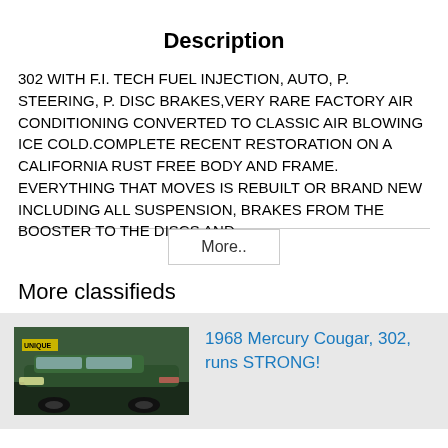Description
302 WITH F.I. TECH FUEL INJECTION, AUTO, P. STEERING, P. DISC BRAKES,VERY RARE FACTORY AIR CONDITIONING CONVERTED TO CLASSIC AIR BLOWING ICE COLD.COMPLETE RECENT RESTORATION ON A CALIFORNIA RUST FREE BODY AND FRAME. EVERYTHING THAT MOVES IS REBUILT OR BRAND NEW INCLUDING ALL SUSPENSION, BRAKES FROM THE BOOSTER TO THE DISCS AND
More..
More classifieds
[Figure (photo): Photo of a 1968 Mercury Cougar, dark green classic car parked in a lot with a sign reading UNIQUE in the background]
1968 Mercury Cougar, 302, runs STRONG!